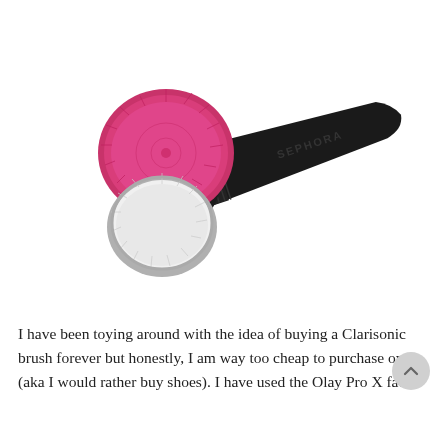[Figure (photo): A Sephora-branded dual-sided facial cleansing brush with a black handle. One side has a round magenta/pink silicone bristle head, and the other side has white traditional brush bristles. The handle has 'SEPHORA' embossed on it.]
I have been toying around with the idea of buying a Clarisonic brush forever but honestly, I am way too cheap to purchase one (aka I would rather buy shoes). I have used the Olay Pro X face